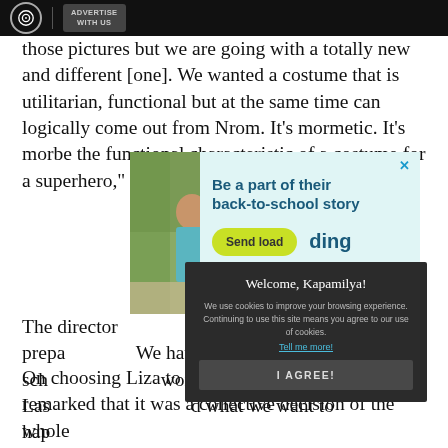ABS-CBN | ADVERTISE WITH US
those pictures but we are going with a totally new and different [one]. We wanted a costume that is utilitarian, functional but at the same time can logically come out from N[ature]. It's mor[e about]... [cos]metic. It's mor[e about]... be the functional characteristic of a costume for a superhero," he stated.
[Figure (photo): Two girls in school uniforms looking at a phone outdoors]
[Figure (infographic): Advertisement: Be a part of their back-to-school story. Send load. Ding logo.]
[Figure (screenshot): Cookie consent modal: Welcome, Kapamilya! We use cookies to improve your browsing experience. Continuing to use this site means you agree to our use of cookies. Tell me more! I AGREE!]
The director [mentioned] workshops with him in prepa[ration]... We have another sch[edule]... workshops with her. Las[t]... d what we want to hap[pen]...
On choosing Liza to portray the superheroine, Erik remarked that it was a collective decision of the whole